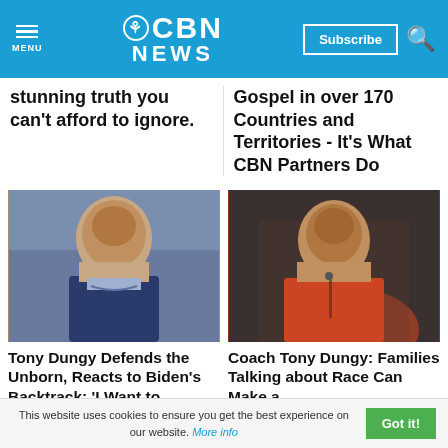CBN NEWS
stunning truth you can't afford to ignore.
Gospel in over 170 Countries and Territories - It's What CBN Partners Do
[Figure (photo): Tony Dungy in a suit smiling]
[Figure (photo): Coach Tony Dungy in red shirt at podium]
Tony Dungy Defends the Unborn, Reacts to Biden's Backtrack: 'I Want to...
Coach Tony Dungy: Families Talking about Race Can Make a...
This website uses cookies to ensure you get the best experience on our website. More info